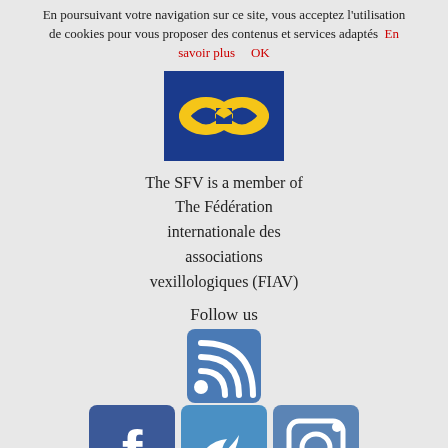En poursuivant votre navigation sur ce site, vous acceptez l'utilisation de cookies pour vous proposer des contenus et services adaptés  En savoir plus    OK
[Figure (logo): FIAV logo: blue rectangle with golden rope knot in the center]
The SFV is a member of The Fédération internationale des associations vexillologiques (FIAV)
Follow us
[Figure (illustration): Social media icons: RSS feed icon (top center), Facebook, Twitter, Instagram icons in a row below]